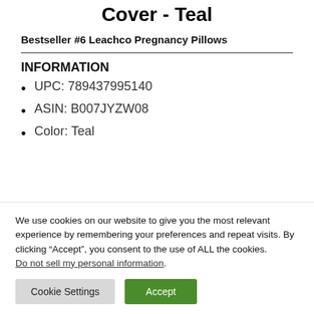Cover - Teal
Bestseller #6 Leachco Pregnancy Pillows
INFORMATION
UPC: 789437995140
ASIN: B007JYZW08
Color: Teal
We use cookies on our website to give you the most relevant experience by remembering your preferences and repeat visits. By clicking “Accept”, you consent to the use of ALL the cookies. Do not sell my personal information.
Cookie Settings | Accept